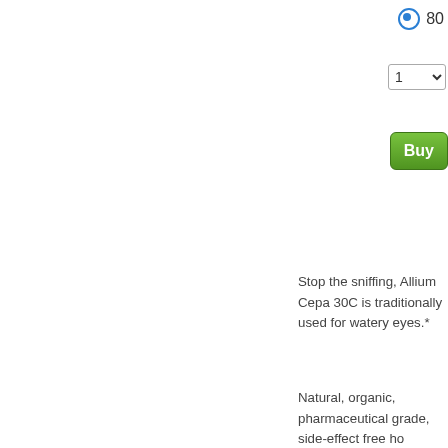[Figure (screenshot): Radio button UI element selected, showing '80' label (partially visible)]
[Figure (screenshot): Quantity dropdown selector showing '1']
[Figure (screenshot): Green 'Buy' button (partially visible)]
Stop the sniffing, Allium Cepa 30C is traditionally used for watery eyes.*
Natural, organic, pharmaceutical grade, side-effect free ho... lifestyles and dietary needs.
ctions
ns: Dosage: Dissolve 5 pellets under the tongue, 3 times a day
dients